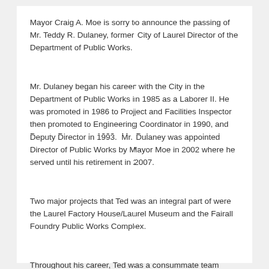Mayor Craig A. Moe is sorry to announce the passing of Mr. Teddy R. Dulaney, former City of Laurel Director of the Department of Public Works.
Mr. Dulaney began his career with the City in the Department of Public Works in 1985 as a Laborer II. He was promoted in 1986 to Project and Facilities Inspector then promoted to Engineering Coordinator in 1990, and Deputy Director in 1993.  Mr. Dulaney was appointed Director of Public Works by Mayor Moe in 2002 where he served until his retirement in 2007.
Two major projects that Ted was an integral part of were the Laurel Factory House/Laurel Museum and the Fairall Foundry Public Works Complex.
Throughout his career, Ted was a consummate team player who enjoyed his work. Ms. Kristie Mills, former City